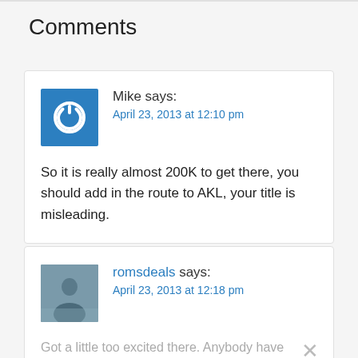Comments
Mike says:
April 23, 2013 at 12:10 pm

So it is really almost 200K to get there, you should add in the route to AKL, your title is misleading.
romsdeals says:
April 23, 2013 at 12:18 pm

Got a little too excited there. Anybody have